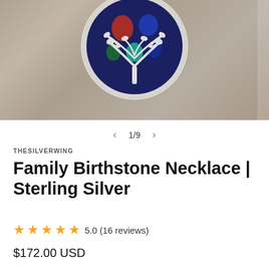[Figure (photo): Close-up photo of a sterling silver family birthstone necklace pendant with tree of life design, featuring colorful gemstones (red, green, blue, teal), placed on a rustic wooden/stone background.]
1/9
THESILVERWING
Family Birthstone Necklace | Sterling Silver
★★★★★ 5.0 (16 reviews)
$172.00 USD